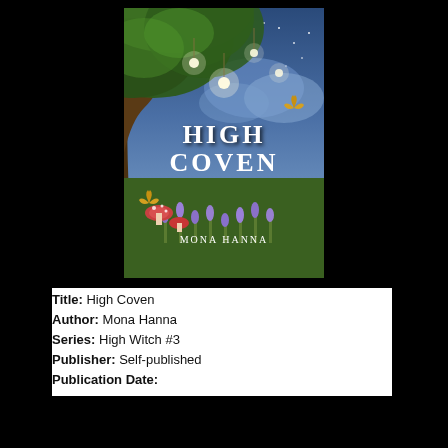[Figure (illustration): Book cover for 'High Coven' by Mona Hanna. Fantasy nature scene with a large mossy tree, glowing fairy lights, wildflowers including lavender, mushrooms, butterflies, and a night sky with stars and clouds. White decorative text reads 'HIGH COVEN' and 'MONA HANNA'.]
Title: High Coven
Author: Mona Hanna
Series: High Witch #3
Publisher: Self-published
Publication Date: